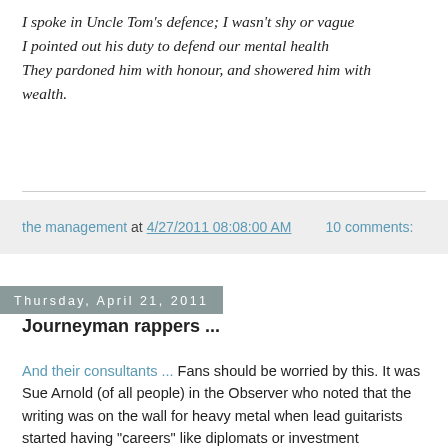I spoke in Uncle Tom's defence; I wasn't shy or vague
I pointed out his duty to defend our mental health
They pardoned him with honour, and showered him with wealth.
the management at 4/27/2011 08:08:00 AM    10 comments:
Thursday, April 21, 2011
Journeyman rappers ...
And their consultants ... Fans should be worried by this. It was Sue Arnold (of all people) in the Observer who noted that the writing was on the wall for heavy metal when lead guitarists started having "careers" like diplomats or investment bankers(specifically in the context of Steve Vai, who did his apprenticeship in the fields of Frank Zappa, worked his way up to Alcatrazz and then got a chance to advance to front-office with Dave Lee Roth, made an ill-advised career move to PIL but then traded it in for a few...